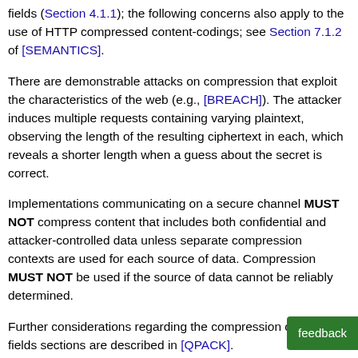fields (Section 4.1.1); the following concerns also apply to the use of HTTP compressed content-codings; see Section 7.1.2 of [SEMANTICS].
There are demonstrable attacks on compression that exploit the characteristics of the web (e.g., [BREACH]). The attacker induces multiple requests containing varying plaintext, observing the length of the resulting ciphertext in each, which reveals a shorter length when a guess about the secret is correct.
Implementations communicating on a secure channel MUST NOT compress content that includes both confidential and attacker-controlled data unless separate compression contexts are used for each source of data. Compression MUST NOT be used if the source of data cannot be reliably determined.
Further considerations regarding the compression of header fields sections are described in [QPACK].